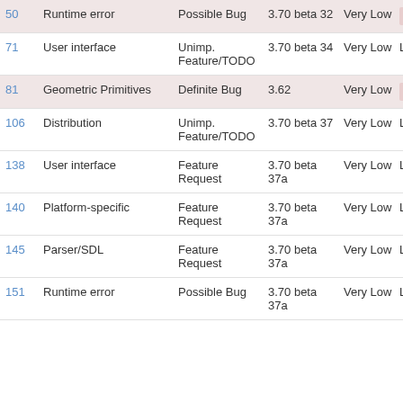| # | Component | Type | Version | Severity | Priority | Summary |
| --- | --- | --- | --- | --- | --- | --- |
| 50 | Runtime error | Possible Bug | 3.70 beta 32 | Very Low | Medium | Frequent segfaults w photon sc… |
| 71 | User interface | Unimp. Feature/TODO | 3.70 beta 34 | Very Low | Low | raise warn when com line option no effect |
| 81 | Geometric Primitives | Definite Bug | 3.62 | Very Low | Medium | sphere_sw generating artifacts |
| 106 | Distribution | Unimp. Feature/TODO | 3.70 beta 37 | Very Low | Low | Update sa scenes an include file POV-Ray 3 |
| 138 | User interface | Feature Request | 3.70 beta 37a | Very Low | Low | "Rename" in File me… |
| 140 | Platform-specific | Feature Request | 3.70 beta 37a | Very Low | Low | "Reload" o in File me… |
| 145 | Parser/SDL | Feature Request | 3.70 beta 37a | Very Low | Low | Stack trace report on e… |
| 151 | Runtime error | Possible Bug | 3.70 beta 37a | Very Low | Low | No way to save while parsing… |